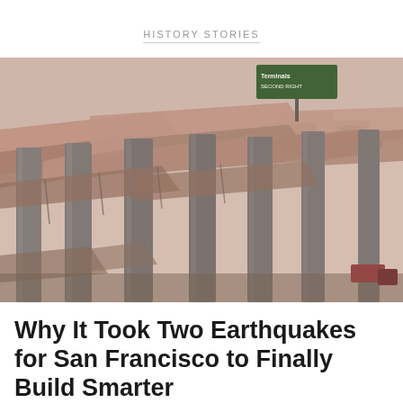HISTORY STORIES
[Figure (photo): Collapsed highway overpass structure showing concrete pillars and fallen roadway decks, aftermath of an earthquake. A green highway sign reading 'Terminals Second Right' is visible at the top. Vehicles visible at lower right.]
Why It Took Two Earthquakes for San Francisco to Finally Build Smarter